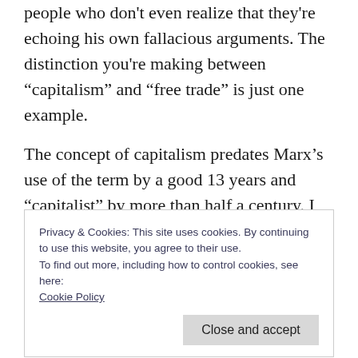people who don't even realize that they're echoing his own fallacious arguments. The distinction you're making between “capitalism” and “free trade” is just one example.
The concept of capitalism predates Marx’s use of the term by a good 13 years and “capitalist” by more than half a century. I simply refuse to accept his corruption of the term, particularly
Privacy & Cookies: This site uses cookies. By continuing to use this website, you agree to their use.
To find out more, including how to control cookies, see here:
Cookie Policy
Close and accept
Marxism is generally portrayed–see